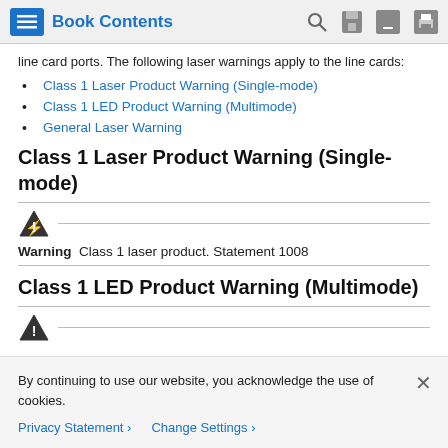Book Contents
line card ports. The following laser warnings apply to the line cards:
Class 1 Laser Product Warning (Single-mode)
Class 1 LED Product Warning (Multimode)
General Laser Warning
Class 1 Laser Product Warning (Single-mode)
Warning  Class 1 laser product. Statement 1008
Class 1 LED Product Warning (Multimode)
By continuing to use our website, you acknowledge the use of cookies.
Privacy Statement >   Change Settings >